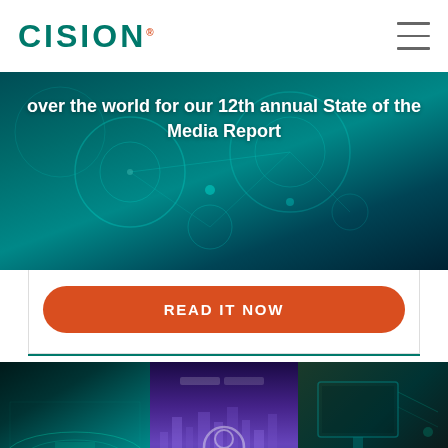CISION
[Figure (photo): Teal-tinted banner with network/technology overlay and white bold text reading: over the world for our 12th annual State of the Media Report]
over the world for our 12th annual State of the Media Report
READ IT NOW
[Figure (photo): Composite image strip showing three panels: left panel with teal-tinted stadium/sports crowd, center panel with purple-tinted city skyline and search icon overlay, right panel with green-tinted screen/laptop workspace]